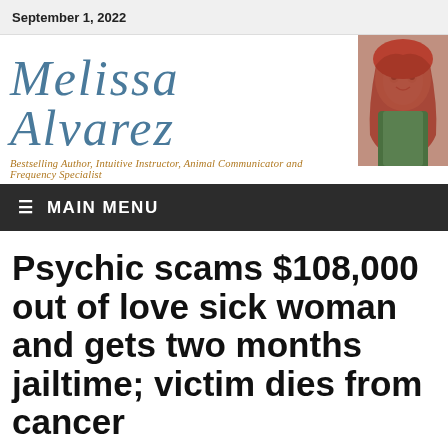September 1, 2022
[Figure (logo): Melissa Alvarez logo with cursive/script text in blue, subtitle 'Bestselling Author, Intuitive Instructor, Animal Communicator and Frequency Specialist' in gold/orange italic, and a photo of a red-haired woman on the right]
≡ MAIN MENU
Psychic scams $108,000 out of love sick woman and gets two months jailtime; victim dies from cancer